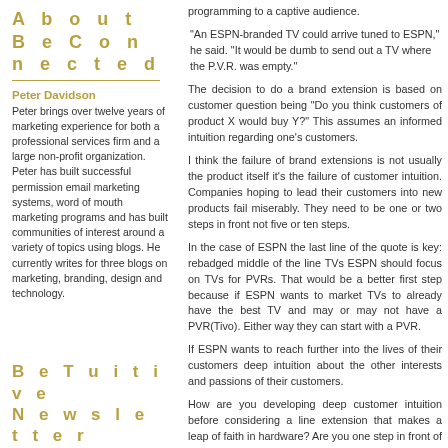About BeConnected
Peter Davidson
Peter brings over twelve years of marketing experience for both a professional services firm and a large non-profit organization. Peter has built successful permission email marketing systems, word of mouth marketing programs and has built communities of interest around a variety of topics using blogs. He currently writes for three blogs on marketing, branding, design and technology.
BeTuitive Newsletter
Sign Up Now
BeTuitive's E-newsletter.
programming to a captive audience.
"An ESPN-branded TV could arrive tuned to ESPN," he said. "It would be dumb to send out a TV where the P.V.R. was empty."
The decision to do a brand extension is based on customer question being "Do you think customers of product X would buy Y?" This assumes an informed intuition regarding one's customers.
I think the failure of brand extensions is not usually the product itself it's the failure of customer intuition. Companies hoping to lead their customers into new products fail miserably. They need to be one or two steps in front not five or ten steps.
In the case of ESPN the last line of the quote is key: rebadged middle of the line TVs ESPN should focus on TVs for PVRs. That would be a better first step because if ESPN wants to market TVs to already have the best TV and may or may not have a PVR(Tivo). Either way they can start with a PVR.
If ESPN wants to reach further into the lives of their customers deep intuition about the other interests and passions of their customers.
How are you developing deep customer intuition before considering a line extension that makes a leap of faith in hardware? Are you one step in front of your customers?
[NYT on ESPN TVs]